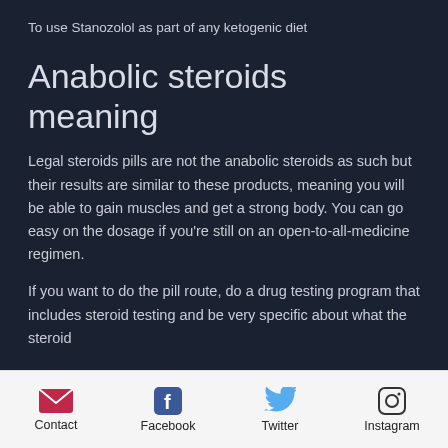To use Stanozolol as part of any ketogenic diet
Anabolic steroids meaning
Legal steroids pills are not the anabolic steroids as such but their results are similar to these products, meaning you will be able to gain muscles and get a strong body. You can go easy on the dosage if you're still on an open-to-all-medicine regimen.
If you want to do the pill route, do a drug testing program that includes steroid testing and be very specific about what the steroid
Contact   Facebook   Twitter   Instagram